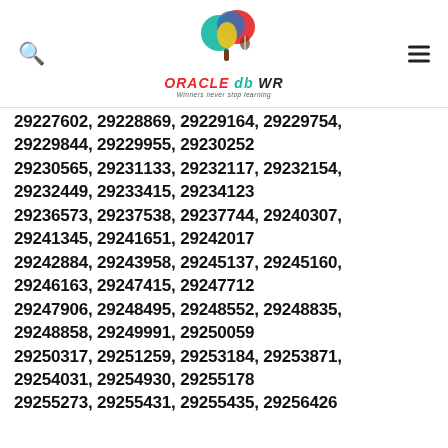Oracle db WR — Winners never stop learning
29227602, 29228869, 29229164, 29229754, 29229844, 29229955, 29230252
29230565, 29231133, 29232117, 29232154, 29232449, 29233415, 29234123
29236573, 29237538, 29237744, 29240307, 29241345, 29241651, 29242017
29242884, 29243958, 29245137, 29245160, 29246163, 29247415, 29247712
29247906, 29248495, 29248552, 29248835, 29248858, 29249991, 29250059
29250317, 29251259, 29253184, 29253871, 29254031, 29254930, 29255178
29255273, 29255431, 29255435, 29256426